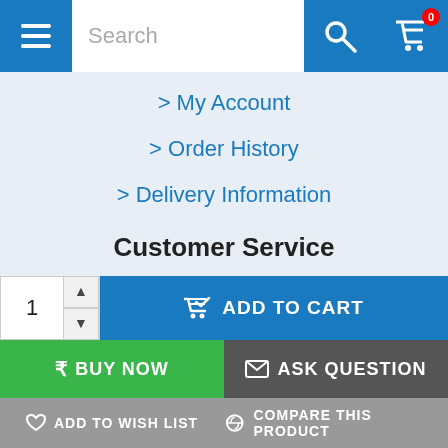[Figure (screenshot): Mobile e-commerce website navigation bar with hamburger menu, search box, search icon button, and cart button with badge showing 0]
> My Account
> Order History
> Delivery Information
Customer Service
> Contact Us
> Product Returns
Close
This website uses cookies to ensure you get the best experience on our website.
[Figure (screenshot): Bottom action bar with quantity selector showing 1, ADD TO CART button, BUY NOW button, ASK QUESTION button, ADD TO WISH LIST and COMPARE THIS PRODUCT buttons]